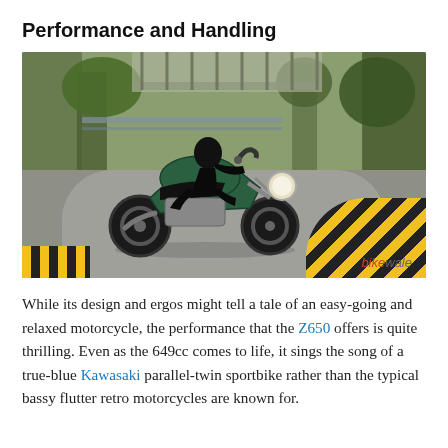Performance and Handling
[Figure (photo): Motorcycle rider on a green Kawasaki Z650 leaning into a curve on a road, with trees in the background and yellow-black kerb markings on the right. BikeWale watermark in bottom right.]
While its design and ergos might tell a tale of an easy-going and relaxed motorcycle, the performance that the Z650 offers is quite thrilling. Even as the 649cc comes to life, it sings the song of a true-blue Kawasaki parallel-twin sportbike rather than the typical bassy flutter retro motorcycles are known for.